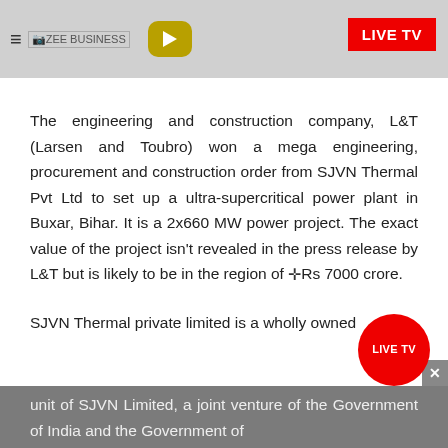≡ ZEE BUSINESS [logo] ▶ LIVE TV
The engineering and construction company, L&T (Larsen and Toubro) won a mega engineering, procurement and construction order from SJVN Thermal Pvt Ltd to set up a ultra-supercritical power plant in Buxar, Bihar. It is a 2x660 MW power project. The exact value of the project isn't revealed in the press release by L&T but is likely to be in the region of ✛ Rs 7000 crore.
SJVN Thermal private limited is a wholly owned unit of SJVN Limited, a joint venture of the Government of India and the Government of